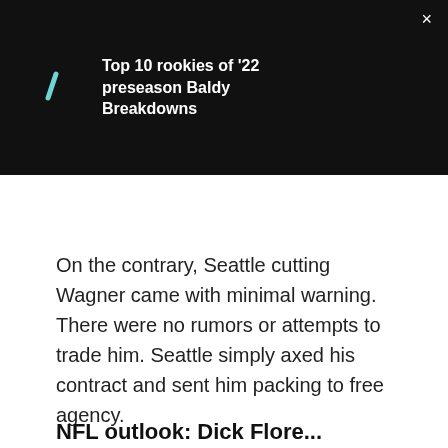[Figure (screenshot): Video overlay on dark background showing a loading spinner icon on the left and text 'Top 10 rookies of '22 preseason Baldy Breakdowns' on the right, with a close (×) button in the top right corner]
On the contrary, Seattle cutting Wagner came with minimal warning. There were no rumors or attempts to trade him. Seattle simply axed his contract and sent him packing to free agency.
NFL outlook: Dick Flore...